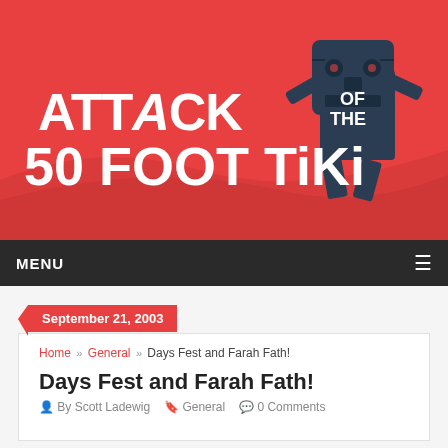[Figure (logo): Attack of the 50 Foot Tiki website header banner with red background, white stylized text logo 'Attack of the 50 Foot Tiki' and a dark teal tiki character illustration]
MENU ☰
September 21, 2003
Home » General » Days Fest and Farah Fath!
Days Fest and Farah Fath!
By Scott Ladewig  General  0 Comments